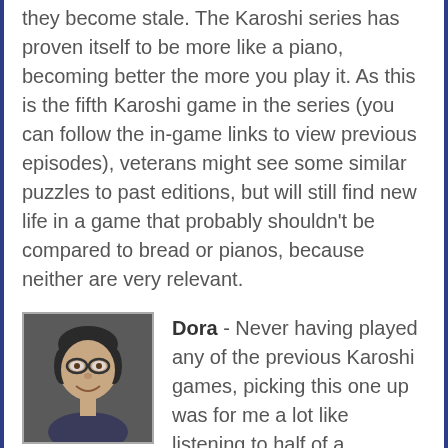they become stale. The Karoshi series has proven itself to be more like a piano, becoming better the more you play it. As this is the fifth Karoshi game in the series (you can follow the in-game links to view previous episodes), veterans might see some similar puzzles to past editions, but will still find new life in a game that probably shouldn't be compared to bread or pianos, because neither are very relevant.
[Figure (photo): Profile photo of reviewer Dora — a woman with glasses, smiling, with short dark hair, shown from shoulders up, black and white or muted tones.]
Dora - Never having played any of the previous Karoshi games, picking this one up was for me a lot like listening to half of a conversation about gorillas. It's weird, it's confusing, maybe a little scary, and you're not sure whether it would be polite to laugh or not. But once I stopped trying to "get" it, the more fun I had with it. For a game whose sole premise is to do horrible things to your willing, muppet-faced pixel counterpart, it's surprisingly